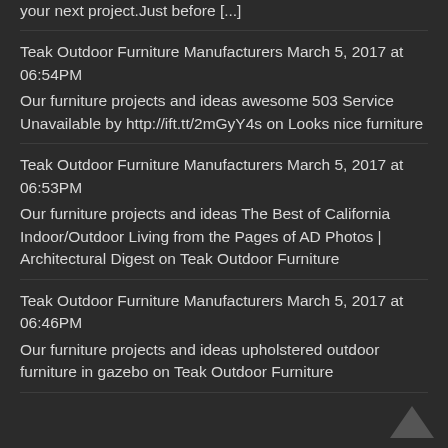your next project.Just before [...]
Teak Outdoor Furniture Manufacturers March 5, 2017 at 06:54PM
Our furniture projects and ideas awesome 503 Service Unavailable by http://ift.tt/2mGyY4s on Looks nice furniture
Teak Outdoor Furniture Manufacturers March 5, 2017 at 06:53PM
Our furniture projects and ideas The Best of California Indoor/Outdoor Living from the Pages of AD Photos | Architectural Digest on Teak Outdoor Furniture
Teak Outdoor Furniture Manufacturers March 5, 2017 at 06:46PM
Our furniture projects and ideas upholstered outdoor furniture in gazebo on Teak Outdoor Furniture